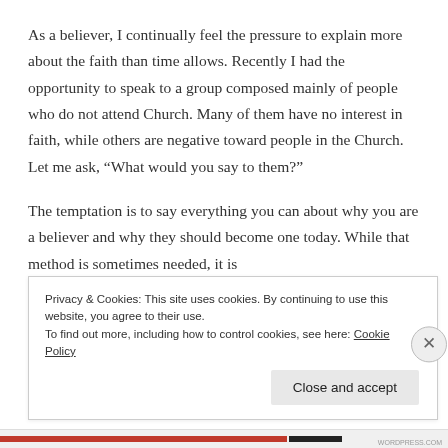As a believer, I continually feel the pressure to explain more about the faith than time allows.  Recently I had the opportunity to speak to a group composed mainly of people who do not attend Church.  Many of them have no interest in faith, while others are negative toward people in the Church.  Let me ask, “What would you say to them?”
The temptation is to say everything you can about why you are a believer and why they should become one today.  While that method is sometimes needed, it is
Privacy & Cookies: This site uses cookies. By continuing to use this website, you agree to their use.
To find out more, including how to control cookies, see here: Cookie Policy
Close and accept